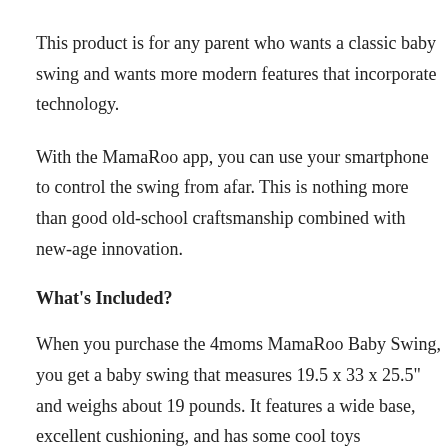This product is for any parent who wants a classic baby swing and wants more modern features that incorporate technology.
With the MamaRoo app, you can use your smartphone to control the swing from afar. This is nothing more than good old-school craftsmanship combined with new-age innovation.
What's Included?
When you purchase the 4moms MamaRoo Baby Swing, you get a baby swing that measures 19.5 x 33 x 25.5" and weighs about 19 pounds. It features a wide base, excellent cushioning, and has some cool toys